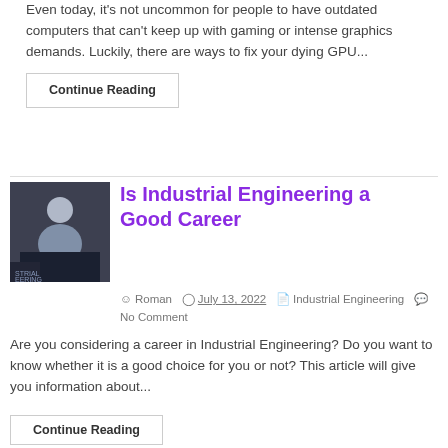Even today, it's not uncommon for people to have outdated computers that can't keep up with gaming or intense graphics demands. Luckily, there are ways to fix your dying GPU...
Continue Reading
Is Industrial Engineering a Good Career
Roman  July 13, 2022  Industrial Engineering  No Comment
Are you considering a career in Industrial Engineering? Do you want to know whether it is a good choice for you or not? This article will give you information about...
Continue Reading